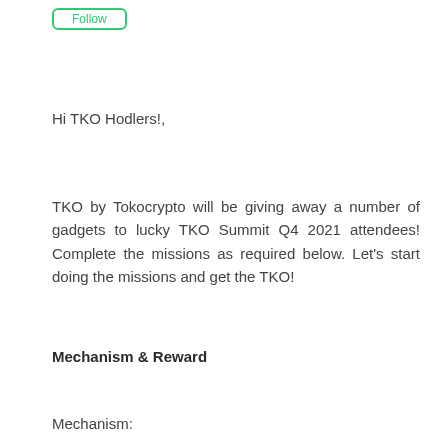Follow
Hi TKO Hodlers!,
TKO by Tokocrypto will be giving away a number of gadgets to lucky TKO Summit Q4 2021 attendees! Complete the missions as required below. Let’s start doing the missions and get the TKO!
Mechanism & Reward
Mechanism: